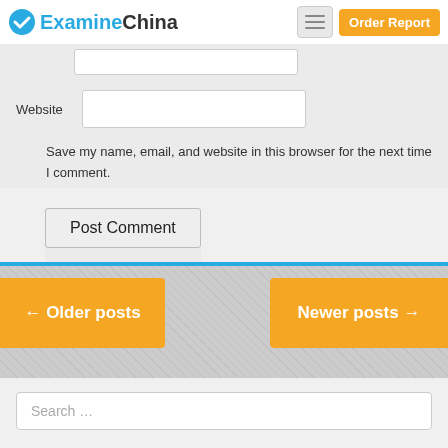ExamineChina — Order Report
Website
Save my name, email, and website in this browser for the next time I comment.
Post Comment
← Older posts
Newer posts →
Search …